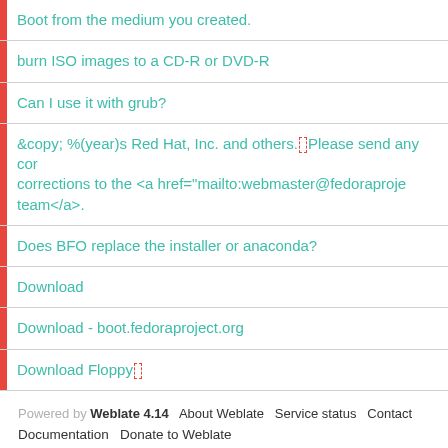Boot from the medium you created.
burn ISO images to a CD-R or DVD-R
Can I use it with grub?
&copy; %(year)s Red Hat, Inc. and others. Please send any corrections to the <a href="mailto:webmaster@fedoraproject">team</a>.
Does BFO replace the installer or anaconda?
Download
Download - boot.fedoraproject.org
Download Floppy
Powered by Weblate 4.14   About Weblate   Service status   Contact   Documentation   Donate to Weblate